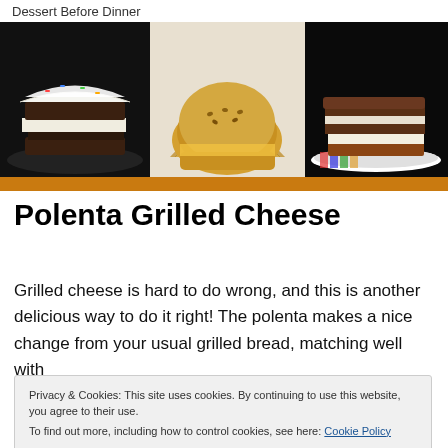Dessert Before Dinner
[Figure (photo): Three food items side by side: a decorated cake slice sandwich on the left, a golden baked pastry/bread in the center, and a layered sandwich on a colorful plate on the right. Orange bar below.]
Polenta Grilled Cheese
Grilled cheese is hard to do wrong, and this is another delicious way to do it right! The polenta makes a nice change from your usual grilled bread, matching well with
Privacy & Cookies: This site uses cookies. By continuing to use this website, you agree to their use.
To find out more, including how to control cookies, see here: Cookie Policy